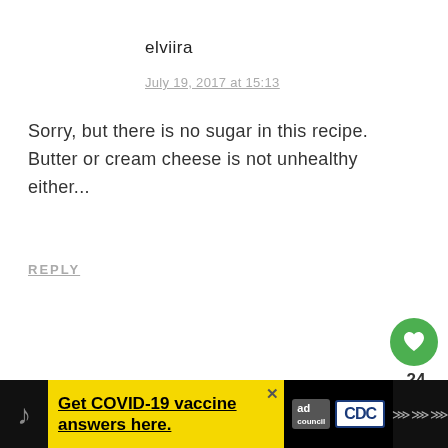elviira
July 19, 2017 at 15:13
Sorry, but there is no sugar in this recipe. Butter or cream cheese is not unhealthy either...
REPLY
Anonymous
July 22, 2017 at 11:53
[Figure (infographic): COVID-19 vaccine ad banner: yellow background with 'Get COVID-19 vaccine answers here.' text, ad council logo, CDC logo, and close button]